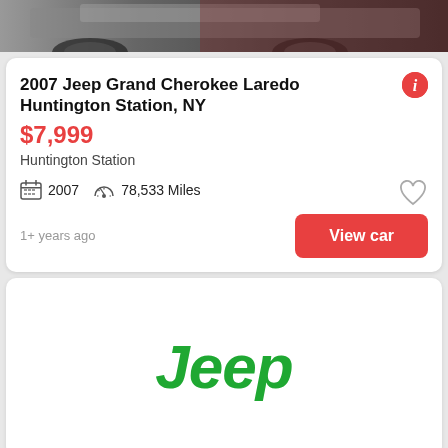[Figure (photo): Top portion of a car photo, partially cropped, showing wheels and body of a vehicle]
2007 Jeep Grand Cherokee Laredo Huntington Station, NY
$7,999
Huntington Station
2007   78,533 Miles
1+ years ago
View car
[Figure (logo): Jeep brand logo in green italic text]